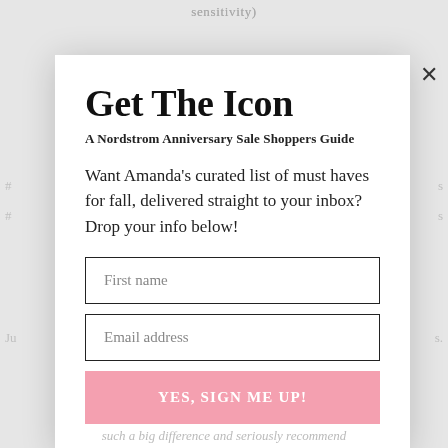sensitivity)
Get The Icon
A Nordstrom Anniversary Sale Shoppers Guide
Want Amanda's curated list of must haves for fall, delivered straight to your inbox? Drop your info below!
First name
Email address
YES, SIGN ME UP!
such a big difference and seriously recommend